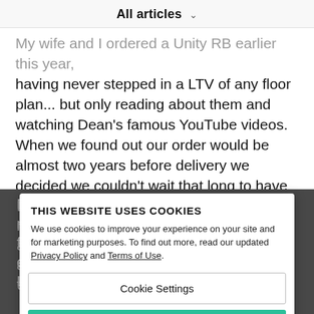All articles
My wife and I ordered a Unity RB earlier this year, having never stepped in a LTV of any floor plan... but only reading about them and watching Dean's famous YouTube videos. When we found out our order would be almost two years before delivery we decided we couldn't wait that long to have a "LTV experience"! We found a company in California (
Bliss RV) that rented LTVs exclusively so we made a cross country trip and spent 5 days in a Wonder FTB and fell in love with it! We would only want a delivery day during January 2022 and then we will be in the LTV Owners community."
THIS WEBSITE USES COOKIES
We use cookies to improve your experience on your site and for marketing purposes. To find out more, read our updated Privacy Policy and Terms of Use.
Cookie Settings
Accept All Cookies